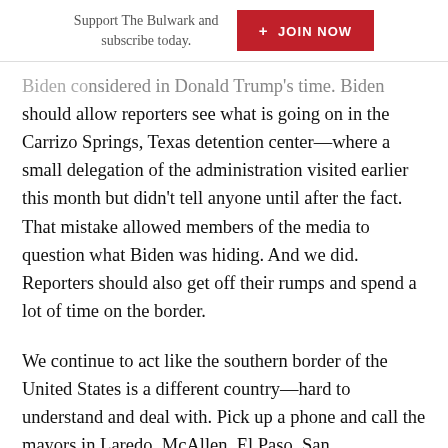Support The Bulwark and subscribe today. + JOIN NOW
…Biden should allow reporters see what is going on in the Carrizo Springs, Texas detention center—where a small delegation of the administration visited earlier this month but didn't tell anyone until after the fact. That mistake allowed members of the media to question what Biden was hiding. And we did. Reporters should also get off their rumps and spend a lot of time on the border.
We continue to act like the southern border of the United States is a different country—hard to understand and deal with. Pick up a phone and call the mayors in Laredo, McAllen, El Paso, San…